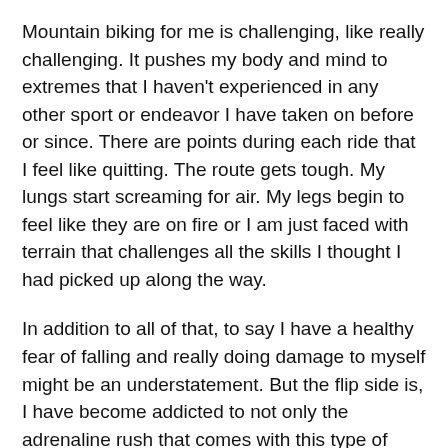Mountain biking for me is challenging, like really challenging. It pushes my body and mind to extremes that I haven't experienced in any other sport or endeavor I have taken on before or since. There are points during each ride that I feel like quitting. The route gets tough. My lungs start screaming for air. My legs begin to feel like they are on fire or I am just faced with terrain that challenges all the skills I thought I had picked up along the way.
In addition to all of that, to say I have a healthy fear of falling and really doing damage to myself might be an understatement. But the flip side is, I have become addicted to not only the adrenaline rush that comes with this type of sport but possibly even more to the feeling of continually looking this particular type of fear in the eye and not backing down from the challenge.